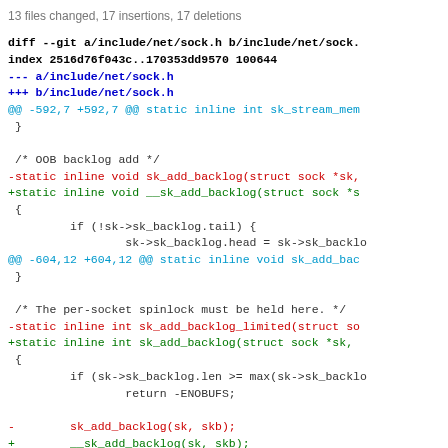13 files changed, 17 insertions, 17 deletions
diff --git a/include/net/sock.h b/include/net/sock.
index 2516d76f043c..170353dd9570 100644
--- a/include/net/sock.h
+++ b/include/net/sock.h
@@ -592,7 +592,7 @@ static inline int sk_stream_mem
 }

 /* OOB backlog add */
-static inline void sk_add_backlog(struct sock *sk,
+static inline void __sk_add_backlog(struct sock *s
 {
         if (!sk->sk_backlog.tail) {
                 sk->sk_backlog.head = sk->sk_backlo
@@ -604,12 +604,12 @@ static inline void sk_add_bac
 }

 /* The per-socket spinlock must be held here. */
-static inline int sk_add_backlog_limited(struct so
+static inline int sk_add_backlog(struct sock *sk,
 {
         if (sk->sk_backlog.len >= max(sk->sk_backlo
                 return -ENOBUFS;

-        sk_add_backlog(sk, skb);
+        __sk_add_backlog(sk, skb);